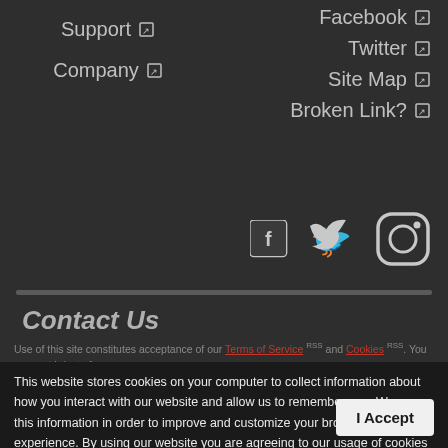Support ↗
Company ↗
Facebook ↗
Twitter ↗
Site Map ↗
Broken Link? ↗
[Figure (illustration): Social media icons: Facebook, Twitter, Instagram]
Contact Us
This website stores cookies on your computer to collect information about how you interact with our website and allow us to remember you. We use this information in order to improve and customize your browsing experience. By using our website you are agreeing to our usage of cookies & consenting to the collection and use of your information. To find out more about the cookies and we how we use them, see our Privacy Policy. [PDF]